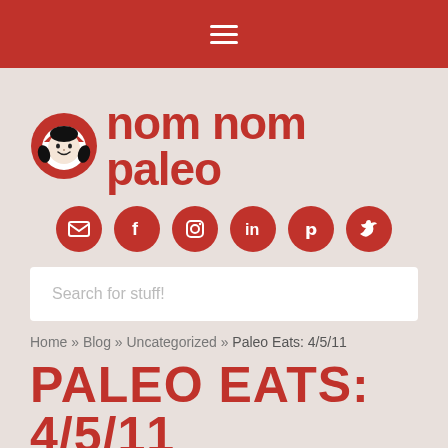nom nom paleo – navigation bar with hamburger menu
[Figure (logo): nom nom paleo logo with cartoon girl face inside a red circle and bold red text 'nom nom paleo']
[Figure (infographic): Row of 6 red circular social media icons: email, facebook, instagram, linkedin, pinterest, twitter]
Search for stuff!
Home » Blog » Uncategorized » Paleo Eats: 4/5/11
PALEO EATS: 4/5/11